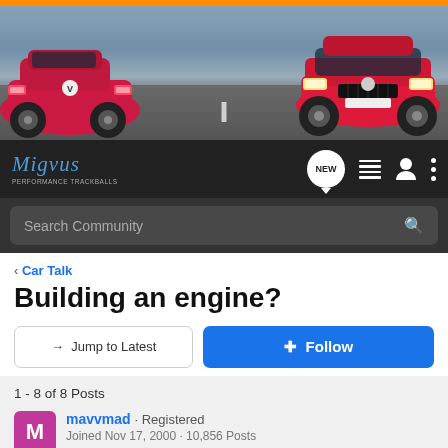[Figure (photo): Banner showing two red cars on a road — one from rear-left and one from front-right — promotional image for Migvus.co.uk automotive forum]
[Figure (logo): Migvus.co.uk logo in blue italic script with navigation icons: NEW chat bubble, list icon, user icon, and three-dot menu]
Search Community
< Car Talk
Building an engine?
→ Jump to Latest
+ Follow
1 - 8 of 8 Posts
mavvmad · Registered
Joined Nov 17, 2000 · 10,856 Posts